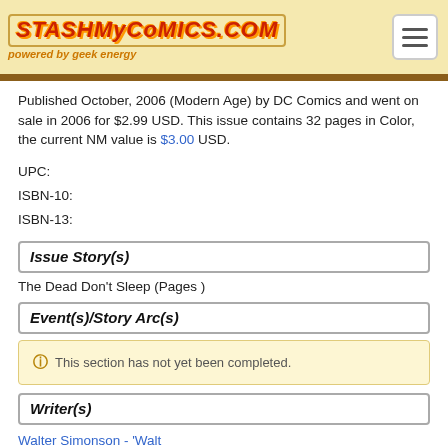StashMyComics.com powered by geek energy
Published October, 2006 (Modern Age) by DC Comics and went on sale in 2006 for $2.99 USD. This issue contains 32 pages in Color, the current NM value is $3.00 USD.
UPC:
ISBN-10:
ISBN-13:
Issue Story(s)
The Dead Don't Sleep (Pages )
Event(s)/Story Arc(s)
This section has not yet been completed.
Writer(s)
Walter Simonson - 'Walt Simonson'
Interior Penciler(s)